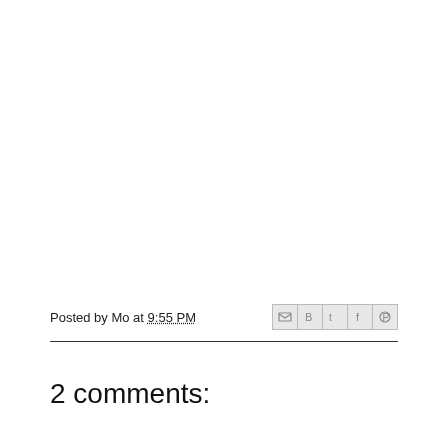Posted by Mo at 9:55 PM
2 comments: